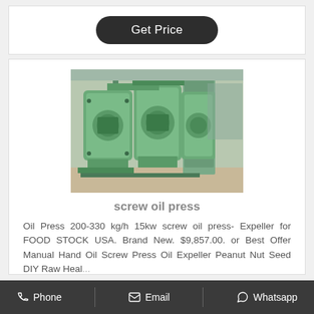Get Price
[Figure (photo): Industrial screw oil press machines (green colored large cylindrical pressing equipment) inside a factory/industrial facility]
screw oil press
Oil Press 200-330 kg/h 15kw screw oil press- Expeller for FOOD STOCK USA. Brand New. $9,857.00. or Best Offer Manual Hand Oil Screw Press Oil Expeller Peanut Nut Seed DIY Raw Heal...
Phone  Email  Whatsapp